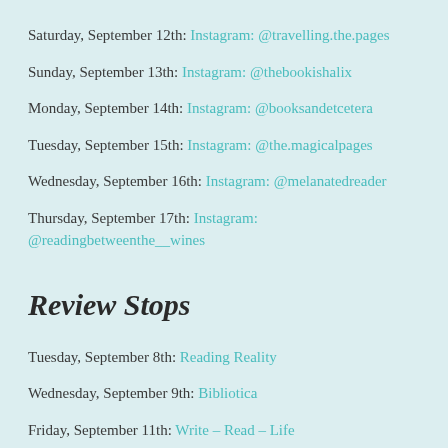Saturday, September 12th: Instagram: @travelling.the.pages
Sunday, September 13th: Instagram: @thebookishalix
Monday, September 14th: Instagram: @booksandetcetera
Tuesday, September 15th: Instagram: @the.magicalpages
Wednesday, September 16th: Instagram: @melanatedreader
Thursday, September 17th: Instagram: @readingbetweenthe__wines
Review Stops
Tuesday, September 8th: Reading Reality
Wednesday, September 9th: Bibliotica
Friday, September 11th: Write – Read – Life
Sunday, September 13th: The Reading Chemist